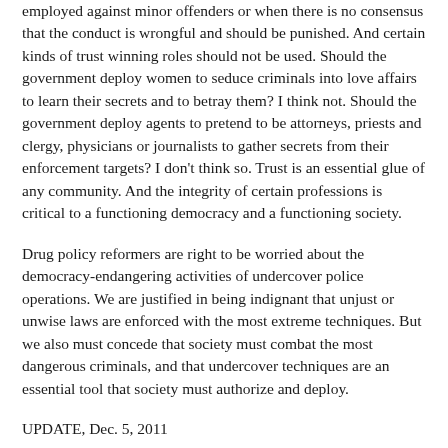employed against minor offenders or when there is no consensus that the conduct is wrongful and should be punished. And certain kinds of trust winning roles should not be used. Should the government deploy women to seduce criminals into love affairs to learn their secrets and to betray them? I think not. Should the government deploy agents to pretend to be attorneys, priests and clergy, physicians or journalists to gather secrets from their enforcement targets? I don't think so. Trust is an essential glue of any community. And the integrity of certain professions is critical to a functioning democracy and a functioning society.
Drug policy reformers are right to be worried about the democracy-endangering activities of undercover police operations. We are justified in being indignant that unjust or unwise laws are enforced with the most extreme techniques. But we also must concede that society must combat the most dangerous criminals, and that undercover techniques are an essential tool that society must authorize and deploy.
UPDATE, Dec. 5, 2011